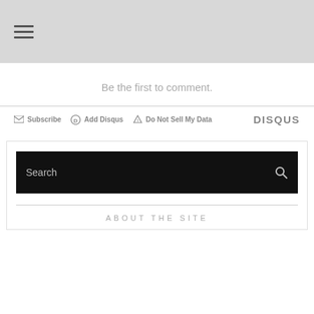☰ (hamburger menu icon)
Be the first to comment.
Subscribe | Add Disqus | Do Not Sell My Data | DISQUS
[Figure (screenshot): Search bar (black background) with 'Search' placeholder text and magnifying glass icon, followed by a horizontal rule and 'ABOUT THE SITE' heading inside a bordered sidebar box]